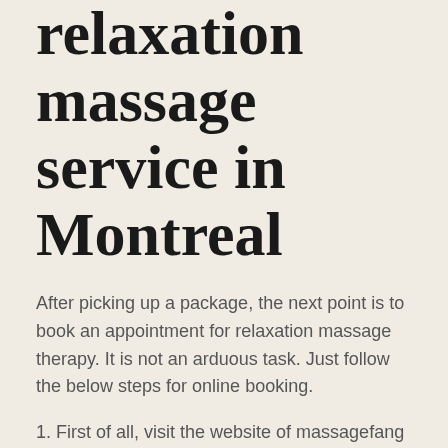relaxation massage service in Montreal
After picking up a package, the next point is to book an appointment for relaxation massage therapy. It is not an arduous task. Just follow the below steps for online booking.
1. First of all, visit the website of massagefang and go to a reservation page.